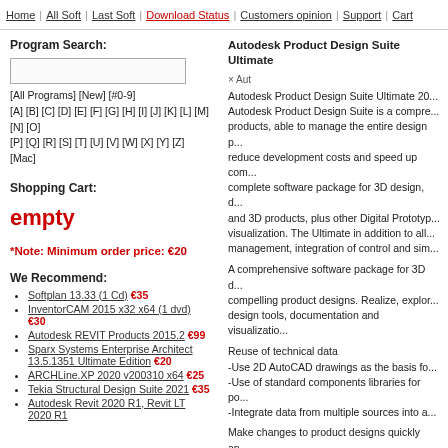Home | All Soft | Last Soft | Download Status | Customers opinion | Support | Cart
Program Search:
[All Programs] [New] [#0-9] [A] [B] [C] [D] [E] [F] [G] [H] [I] [J] [K] [L] [M] [N] [O] [P] [Q] [R] [S] [T] [U] [V] [W] [X] [Y] [Z] [Mac]
Shopping Cart:
empty
*Note: Minimum order price: €20
We Recommend:
Softplan 13.33 (1 Cd) €35
InventorCAM 2015 x32 x64 (1 dvd) €30
Autodesk REVIT Products 2015.2 €99
Sparx Systems Enterprise Architect 13.5.1351 Ultimate Edition €20
ARCHLine.XP 2020 v200310 x64 €25
Tekia Structural Design Suite 2021 €35
Autodesk Revit 2020 R1, Revit LT 2020 R1
Autodesk Product Design Suite Ultimate
× Aut
Autodesk Product Design Suite Ultimate 20... Autodesk Product Design Suite is a comprehensive products, able to manage the entire design p... reduce development costs and speed up com... complete software package for 3D design, d... and 3D products, plus other Digital Prototyp... visualization. The Ultimate in addition to all... management, integration of control and sim...
A comprehensive software package for 3D d... compelling product designs. Realize, explor... design tools, documentation and visualizatio...
Reuse of technical data
-Use 2D AutoCAD drawings as the basis fo...
-Use of standard components libraries for po...
-Integrate data from multiple sources into a...
Make changes to product designs quickly an...
-Capturing design intent and parametric too...
-Geometric changes with direct modeling ca...
-Update projects after every change
Integration of electrical and mechanical des...
-Create 3D layout of cables through the imp...
-Automate the cable design and wiring in th...
-Create models of 3D design products from...
Included Software:
-Autodesk 3DS MAX 2021...